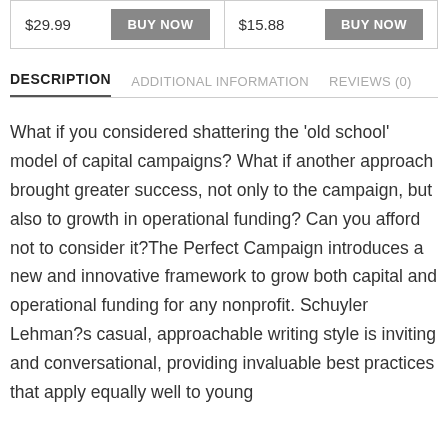$29.99  BUY NOW  $15.88  BUY NOW
DESCRIPTION  ADDITIONAL INFORMATION  REVIEWS (0)
What if you considered shattering the ‘old school’ model of capital campaigns? What if another approach brought greater success, not only to the campaign, but also to growth in operational funding? Can you afford not to consider it?The Perfect Campaign introduces a new and innovative framework to grow both capital and operational funding for any nonprofit. Schuyler Lehman?s casual, approachable writing style is inviting and conversational, providing invaluable best practices that apply equally well to young